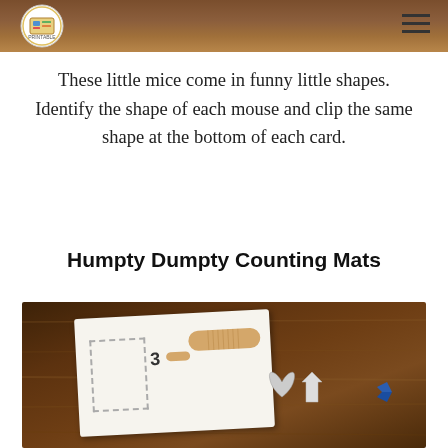[Figure (photo): Top strip showing a wooden table surface, partially cropped, with logo circle in top-left and hamburger menu icon in top-right]
These little mice come in funny little shapes. Identify the shape of each mouse and clip the same shape at the bottom of each card.
Humpty Dumpty Counting Mats
[Figure (photo): Photo of a wooden table with a printed counting mat card showing the number 3, bandage shapes, and various cut-out pieces scattered around]